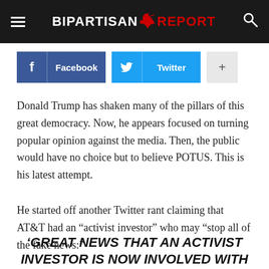BIPARTISAN REPORT
[Figure (infographic): Social share buttons: Facebook (blue), Twitter (cyan), and a plus button (gray)]
Donald Trump has shaken many of the pillars of this great democracy. Now, he appears focused on turning popular opinion against the media. Then, the public would have no choice but to believe POTUS. This is his latest attempt.
He started off another Twitter rant claiming that AT&T had an “activist investor” who may “stop all of the fake news:”
‘GREAT NEWS THAT AN ACTIVIST INVESTOR IS NOW INVOLVED WITH AT&T, AS THE OWNER OF VERY LOW